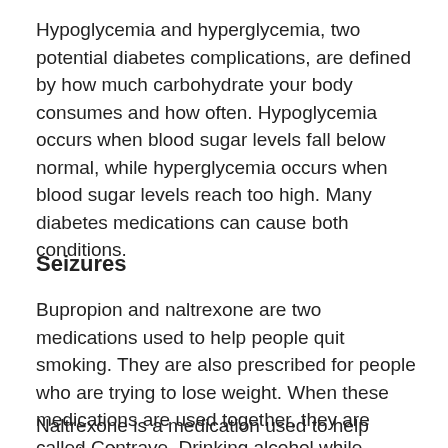Hypoglycemia and hyperglycemia, two potential diabetes complications, are defined by how much carbohydrate your body consumes and how often. Hypoglycemia occurs when blood sugar levels fall below normal, while hyperglycemia occurs when blood sugar levels reach too high. Many diabetes medications can cause both conditions.
Seizures
Bupropion and naltrexone are two medications used to help people quit smoking. They are also prescribed for people who are trying to lose weight. When these medications are used together, they are called Contrave. Drinking alcohol while taking Contrave can cause serious side effects such as adverse nervous system and liver.
Naltrexone is a medication used to help people who are